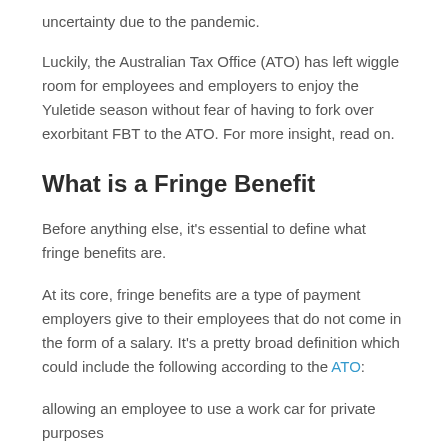uncertainty due to the pandemic.
Luckily, the Australian Tax Office (ATO) has left wiggle room for employees and employers to enjoy the Yuletide season without fear of having to fork over exorbitant FBT to the ATO. For more insight, read on.
What is a Fringe Benefit
Before anything else, it's essential to define what fringe benefits are.
At its core, fringe benefits are a type of payment employers give to their employees that do not come in the form of a salary. It's a pretty broad definition which could include the following according to the ATO:
allowing an employee to use a work car for private purposes